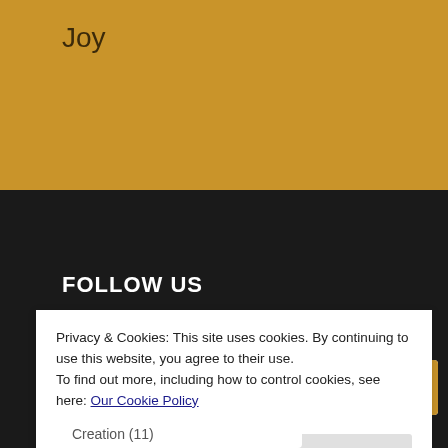Joy
FOLLOW US
Search
SEARCH
Privacy & Cookies: This site uses cookies. By continuing to use this website, you agree to their use.
To find out more, including how to control cookies, see here: Our Cookie Policy
Close and accept
Creation (11)